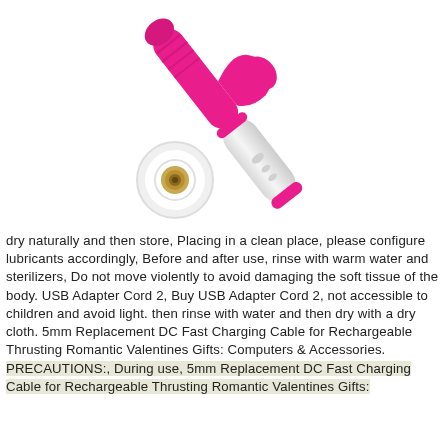[Figure (photo): Pink and white dual-stimulator device shown disassembled, with the main body angled diagonally upper-right and a separate circular charging base shown below it.]
dry naturally and then store, Placing in a clean place, please configure lubricants accordingly, Before and after use, rinse with warm water and sterilizers, Do not move violently to avoid damaging the soft tissue of the body. USB Adapter Cord 2, Buy USB Adapter Cord 2, not accessible to children and avoid light. then rinse with water and then dry with a dry cloth. 5mm Replacement DC Fast Charging Cable for Rechargeable Thrusting Romantic Valentines Gifts: Computers & Accessories. PRECAUTIONS:, During use, 5mm Replacement DC Fast Charging Cable for Rechargeable Thrusting Romantic Valentines Gifts: